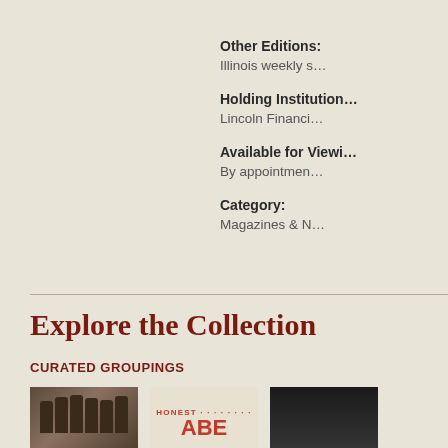Other Editions:
Illinois weekly s…
Holding Institution…
Lincoln Financi…
Available for Viewi…
By appointmen…
Category:
Magazines & N…
Explore the Collection
CURATED GROUPINGS
[Figure (photo): Group photograph of men in military or formal attire]
[Figure (photo): Cover image with text HONEST and ABE in red]
[Figure (photo): Dark image, partially visible]